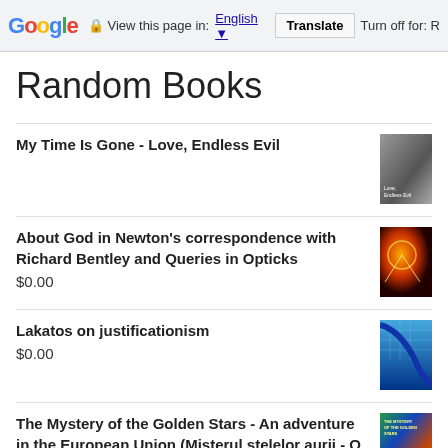Google  View this page in: English ▼  Translate  Turn off for: R
Random Books
My Time Is Gone - Love, Endless Evil
About God in Newton's correspondence with Richard Bentley and Queries in Opticks
$0.00
Lakatos on justificationism
$0.00
The Mystery of the Golden Stars - An adventure in the European Union (Misterul stelelor aurii - O aventură în Uniunea Europeană)